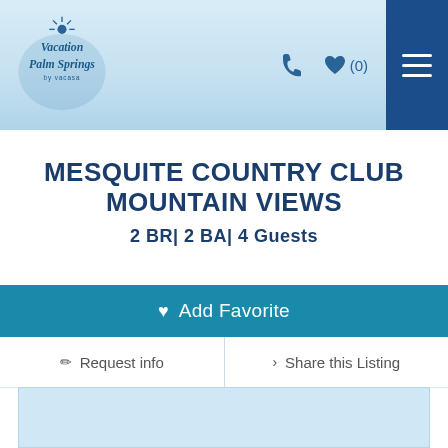[Figure (logo): Vacation Palm Springs by Vacasa logo — cursive white text on light blue circular badge]
MESQUITE COUNTRY CLUB MOUNTAIN VIEWS
2 BR| 2 BA| 4 Guests
♥ Add Favorite
✏ Request info
> Share this Listing
[Figure (photo): Property photo placeholder area (light blue)]